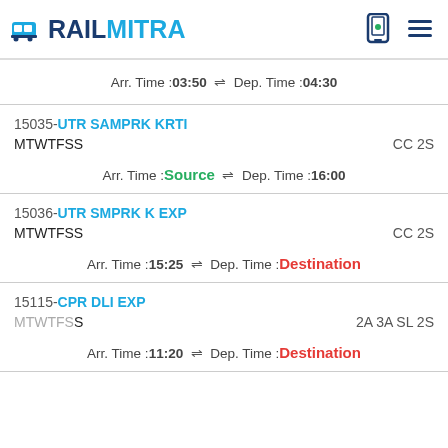RAILMITRA
Arr. Time :03:50  ⇌  Dep. Time :04:30
15035-UTR SAMPRK KRTI
MTWTFSS
CC 2S
Arr. Time :Source  ⇌  Dep. Time :16:00
15036-UTR SMPRK K EXP
MTWTFSS
CC 2S
Arr. Time :15:25  ⇌  Dep. Time :Destination
15115-CPR DLI EXP
MTWTFSS
2A 3A SL 2S
Arr. Time :11:20  ⇌  Dep. Time :Destination